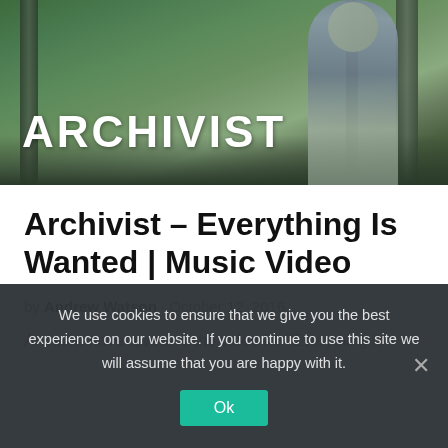[Figure (photo): Hero image showing a person in a denim jacket in a forest setting with text 'ARCHIVIST' overlaid in large white bold letters]
Archivist – Everything Is Wanted | Music Video
by Andrew Watson · October 12, 2016
Archivist have revealed the video for "Everything Is
We use cookies to ensure that we give you the best experience on our website. If you continue to use this site we will assume that you are happy with it.